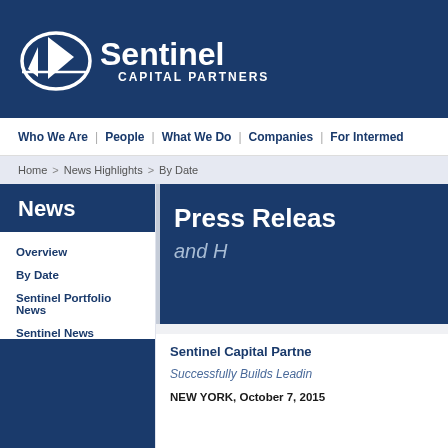[Figure (logo): Sentinel Capital Partners logo — white sail/chart icon with 'Sentinel CAPITAL PARTNERS' in white text on dark navy background]
Who We Are  |  People  |  What We Do  |  Companies  |  For Intermed...
Home > News Highlights > By Date
News
Overview
By Date
Sentinel Portfolio News
Sentinel News
[Figure (screenshot): Press Release and H... banner on dark navy background with white bold text 'Press Releas...' and italic 'and H...']
Sentinel Capital Partne...
Successfully Builds Leadin...
NEW YORK, October 7, 2015